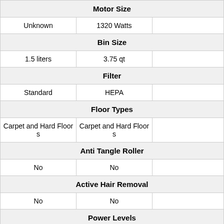| Motor Size |  |  |
| Unknown | 1320 Watts |  |
| Bin Size |  |  |
| 1.5 liters | 3.75 qt |  |
| Filter |  |  |
| Standard | HEPA |  |
| Floor Types |  |  |
| Carpet and Hard Floors | Carpet and Hard Floors |  |
| Anti Tangle Roller |  |  |
| No | No |  |
| Active Hair Removal |  |  |
| No | No |  |
| Power Levels |  |  |